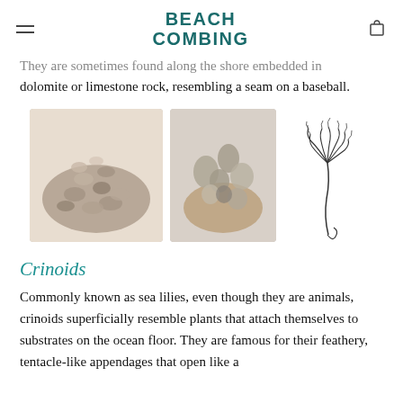BEACH COMBING
They are sometimes found along the shore embedded in dolomite or limestone rock, resembling a seam on a baseball.
[Figure (photo): Three images: a pile of fossil crinoid stem segments (columnals), a hand holding larger crinoid fossil pieces, and a black-and-white illustration of a crinoid organism.]
Crinoids
Commonly known as sea lilies, even though they are animals, crinoids superficially resemble plants that attach themselves to substrates on the ocean floor. They are famous for their feathery, tentacle-like appendages that open like a